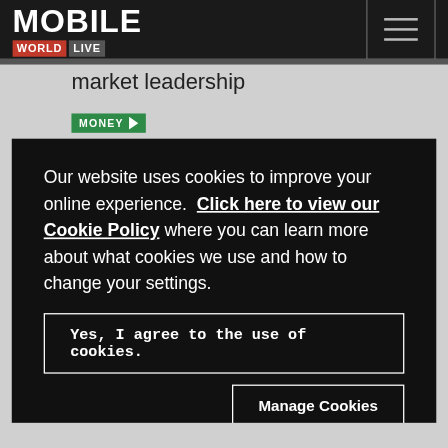[Figure (logo): Mobile World Live logo with hamburger menu button on dark nav bar]
market leadership
MONEY
Our website uses cookies to improve your online experience. Click here to view our Cookie Policy where you can learn more about what cookies we use and how to change your settings.
Yes, I agree to the use of cookies.
Manage Cookies